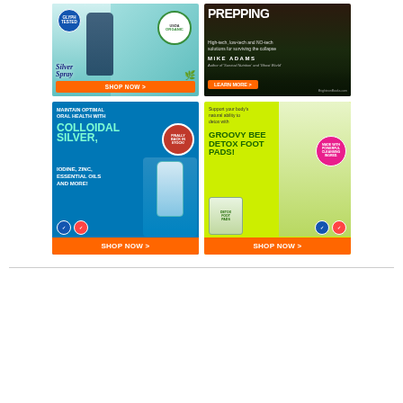[Figure (illustration): Advertisement for a silver/USDA Organic health spray product. Shows a woman smiling with teal background, USDA ORGANIC badge, a product bottle, and an orange SHOP NOW button.]
[Figure (illustration): Advertisement for a book about prepping by Mike Adams. Dark background with text 'PREPPING - High-tech, low-tech and NO-tech solutions for surviving the collapse'. LEARN MORE button and BrighteonBooks.com URL.]
[Figure (illustration): Advertisement for Colloidal Silver product on blue background. Text: MAINTAIN OPTIMAL ORAL HEALTH WITH COLLOIDAL SILVER, IODINE, ZINC, ESSENTIAL OILS AND MORE! Red FINALLY BACK IN STOCK badge. Orange SHOP NOW button.]
[Figure (illustration): Advertisement for Groovy Bee Detox Foot Pads on yellow-green background. Text: Support your body's natural ability to detox with GROOVY BEE DETOX FOOT PADS! Shows feet with flowers and product packages. Orange SHOP NOW button.]